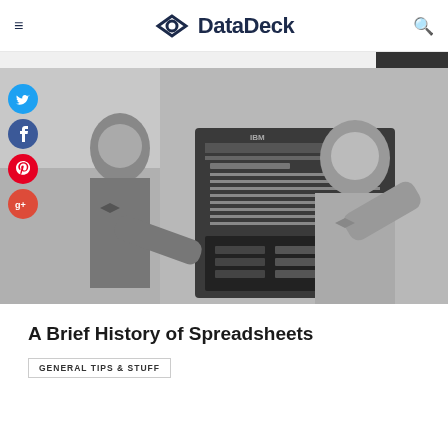DataDeck
[Figure (photo): Black and white photograph of two military personnel in uniform operating or inspecting a large IBM computing machine with panels of switches and controls]
A Brief History of Spreadsheets
GENERAL TIPS & STUFF